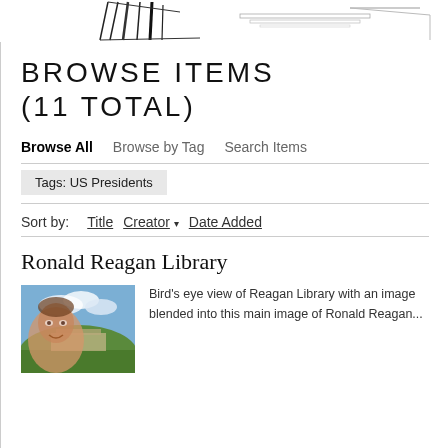[Figure (illustration): Header image showing architectural line drawing of a building with columns]
BROWSE ITEMS (11 TOTAL)
Browse All   Browse by Tag   Search Items
Tags: US Presidents
Sort by:   Title   Creator ▾   Date Added
Ronald Reagan Library
[Figure (photo): Photo of Ronald Reagan blended with a bird's eye view of Reagan Library with landscape]
Bird's eye view of Reagan Library with an image blended into this main image of Ronald Reagan...